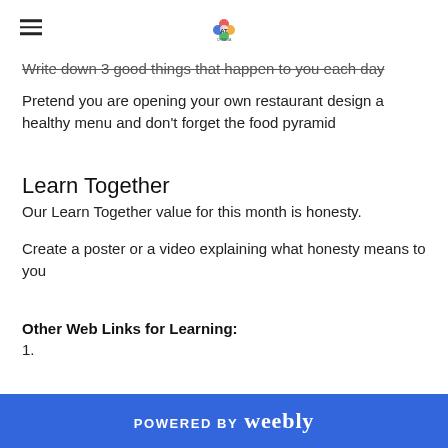[Hamburger menu icon] [Logo: AT Creada]
Write down 3 good things that happen to you each day
Pretend you are opening your own restaurant design a healthy menu and don't forget the food pyramid
Learn Together
Our Learn Together value for this month is honesty.
Create a poster or a video explaining what honesty means to you
Other Web Links for Learning:
1.
POWERED BY weebly